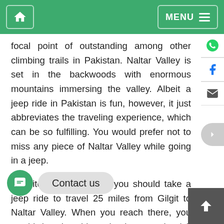Home | MENU
focal point of outstanding among other climbing trails in Pakistan. Naltar Valley is set in the backwoods with enormous mountains immersing the valley. Albeit a jeep ride in Pakistan is fun, however, it just abbreviates the traveling experience, which can be so fulfilling. You would prefer not to miss any piece of Naltar Valley while going in a jeep.
In spite of the fact that you should take a jeep ride to travel 25 miles from Gilgit to Naltar Valley. When you reach there, you would then be able to begin your trip visit from Naltar Valley to Naltar lakes, which are 3 in number – each having various tones – green, the dull green and third one is a wonderful tone of sky blue.